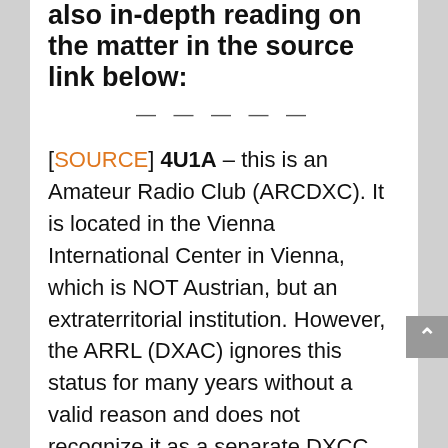also in-depth reading on the matter in the source link below:
— — — — —
[SOURCE] 4U1A – this is an Amateur Radio Club (ARCDXC). It is located in the Vienna International Center in Vienna, which is NOT Austrian, but an extraterritorial institution. However, the ARRL (DXAC) ignores this status for many years without a valid reason and does not recognize it as a separate DXCC entity, but recognizes it as part of Austria, thereby explicitly ignoring international agreements between the UN (where the US is a member state) and the